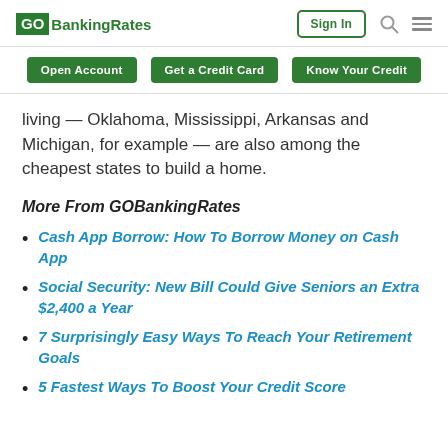GOBankingRates | Sign In
Open Account   Get a Credit Card   Know Your Credit
living — Oklahoma, Mississippi, Arkansas and Michigan, for example — are also among the cheapest states to build a home.
More From GOBankingRates
Cash App Borrow: How To Borrow Money on Cash App
Social Security: New Bill Could Give Seniors an Extra $2,400 a Year
7 Surprisingly Easy Ways To Reach Your Retirement Goals
5 Fastest Ways To Boost Your Credit Score